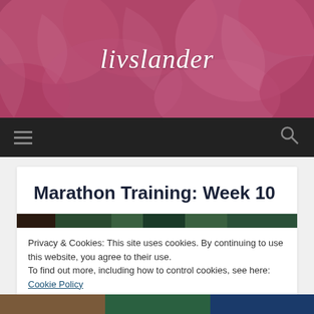[Figure (photo): Pink peony flowers close-up, serving as the header background for the livslander blog]
livslander
Navigation bar with hamburger menu and search icon
Marathon Training: Week 10
Privacy & Cookies: This site uses cookies. By continuing to use this website, you agree to their use.
To find out more, including how to control cookies, see here: Cookie Policy
Close and accept